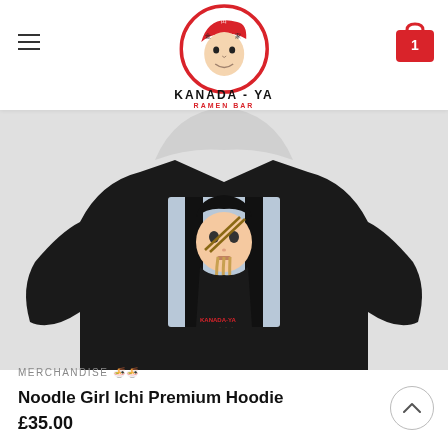Kanada-Ya Ramen Bar - navigation header with hamburger menu and cart showing 1 item
[Figure (photo): Black hoodie product photo showing an anime-style girl eating noodles with chopsticks, printed on the chest area of the hoodie. The hoodie is displayed on a model against a light background.]
MERCHANDISE 🍜🍜
Noodle Girl Ichi Premium Hoodie
£35.00